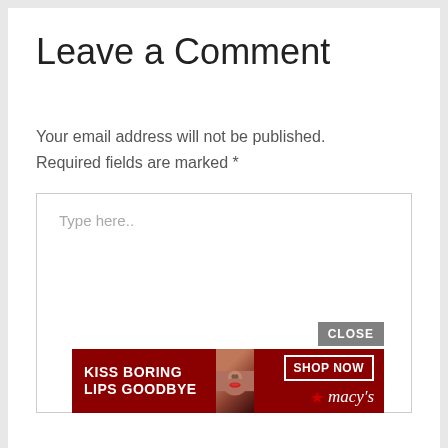Leave a Comment
Your email address will not be published. Required fields are marked *
Type here..
[Figure (screenshot): CLOSE button overlay and Macy's advertisement banner showing 'KISS BORING LIPS GOODBYE' with a woman's face and red lips, SHOP NOW button, and Macy's star logo]